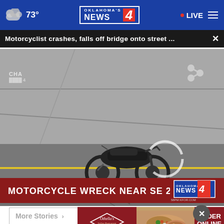73° | Oklahoma's News 4 | LIVE
Motorcyclist crashes, falls off bridge onto street ...
[Figure (screenshot): News video screenshot showing a motorcycle on a road/bridge, with lower-third chyron reading MOTORCYCLE WRECK NEAR SE 29TH & I-40 and Oklahoma's News 4 logo]
More Stories >
[Figure (photo): Advertisement for Othella's Italian Restaurant with locations in Edmond and Norman, showing pizza/food and ORDER ONLINE NOW! call to action]